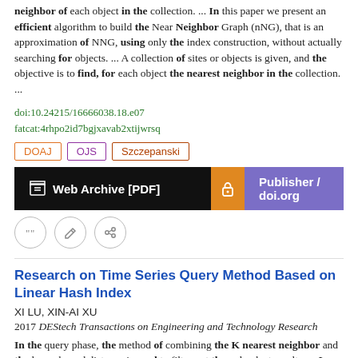neighbor of each object in the collection.  ...  In this paper we present an efficient algorithm to build the Near Neighbor Graph (nNG), that is an approximation of NNG, using only the index construction, without actually searching for objects.  ...  A collection of sites or objects is given, and the objective is to find, for each object the nearest neighbor in the collection.  ...
doi:10.24215/16666038.18.e07
fatcat:4rhpo2id7bgjxavab2xtijwrsq
DOAJ   OJS   Szczepanski
Web Archive [PDF]   Publisher / doi.org
Research on Time Series Query Method Based on Linear Hash Index
XI LU, XIN-AI XU
2017 DEStech Transactions on Engineering and Technology Research
In the query phase, the method of combining the K nearest neighbor and the lower bound distance is used to filter out the redundant results.  ...  In this paper, we propose a new query processing method for time series, in order to reduce the index creation time and